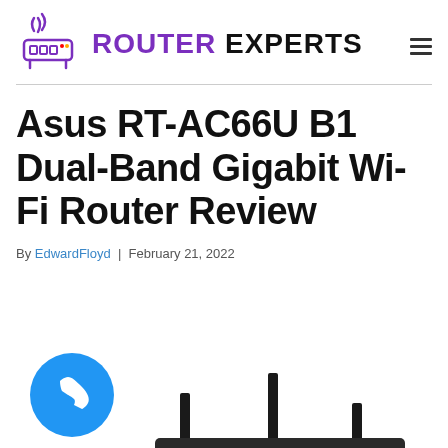ROUTER EXPERTS
Asus RT-AC66U B1 Dual-Band Gigabit Wi-Fi Router Review
By EdwardFloyd | February 21, 2022
[Figure (photo): Partial image of the Asus RT-AC66U B1 router with antennas visible, and a blue phone icon in the lower left corner]